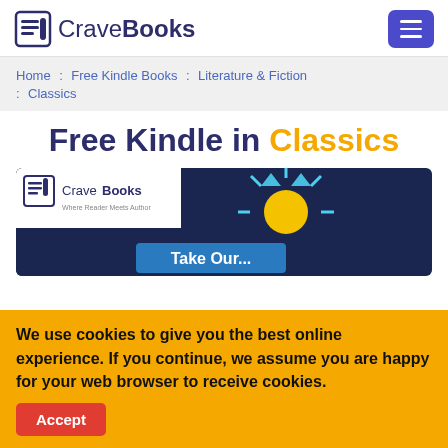CraveBooks
Home : Free Kindle Books : Literature & Fiction : Classics
Free Kindle in Classics
[Figure (illustration): CraveBooks promotional banner showing logo and a lightbulb illustration with the text 'Take Our...' on a dark blue background]
We use cookies to give you the best online experience. If you continue, we assume you are happy for your web browser to receive cookies.
Accept